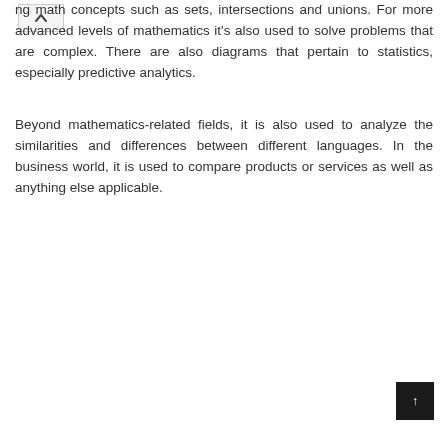ng math concepts such as sets, intersections and unions. For more advanced levels of mathematics it's also used to solve problems that are complex. There are also diagrams that pertain to statistics, especially predictive analytics.
Beyond mathematics-related fields, it is also used to analyze the similarities and differences between different languages. In the business world, it is used to compare products or services as well as anything else applicable.